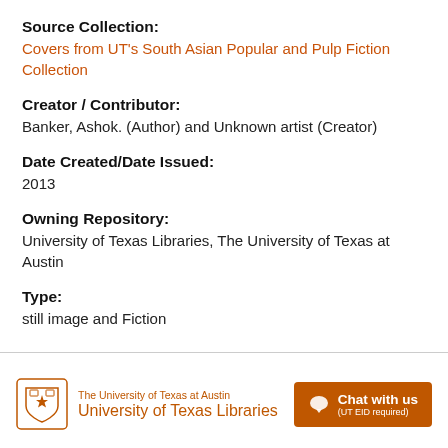Source Collection:
Covers from UT's South Asian Popular and Pulp Fiction Collection
Creator / Contributor:
Banker, Ashok. (Author) and Unknown artist (Creator)
Date Created/Date Issued:
2013
Owning Repository:
University of Texas Libraries, The University of Texas at Austin
Type:
still image and Fiction
The University of Texas at Austin University of Texas Libraries  Chat with us (UT EID required)